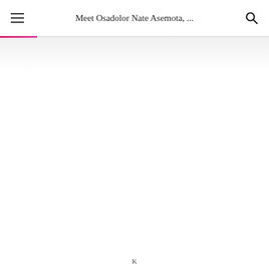Meet Osadolor Nate Asemota, ...
K